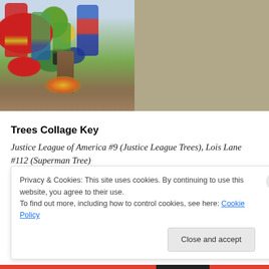[Figure (photo): Comic book cover collage showing two panels side by side. Left panel: Justice League of America #9 with Flash, Martian Manhunter, Green Lantern, Wonder Woman and other heroes around a tree with fire at base. Right panel: Lois Lane #112 with Superman and Lois Lane flying near a tree, with 'Now Monthly' badge visible.]
Trees Collage Key
Justice League of America #9 (Justice League Trees), Lois Lane #112 (Superman Tree)
Privacy & Cookies: This site uses cookies. By continuing to use this website, you agree to their use.
To find out more, including how to control cookies, see here: Cookie Policy
Close and accept